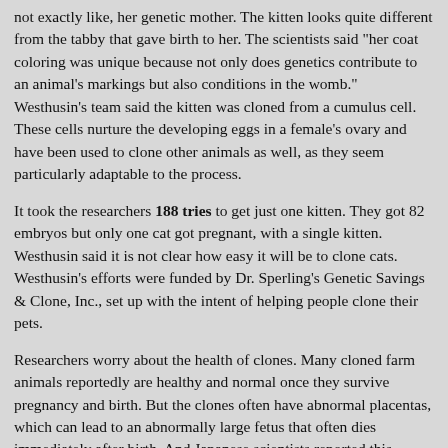not exactly like, her genetic mother. The kitten looks quite different from the tabby that gave birth to her. The scientists said "her coat coloring was unique because not only does genetics contribute to an animal's markings but also conditions in the womb." Westhusin's team said the kitten was cloned from a cumulus cell. These cells nurture the developing eggs in a female's ovary and have been used to clone other animals as well, as they seem particularly adaptable to the process.
It took the researchers 188 tries to get just one kitten. They got 82 embryos but only one cat got pregnant, with a single kitten. Westhusin said it is not clear how easy it will be to clone cats. Westhusin's efforts were funded by Dr. Sperling's Genetic Savings & Clone, Inc., set up with the intent of helping people clone their pets.
Researchers worry about the health of clones. Many cloned farm animals reportedly are healthy and normal once they survive pregnancy and birth. But the clones often have abnormal placentas, which can lead to an abnormally large fetus that often dies immediately after birth. And Japanese scientists reported this month that most of the mice they cloned died young of liver and lung problems. Experts suggest that the cloning technique used is key to getting a healthy animal.